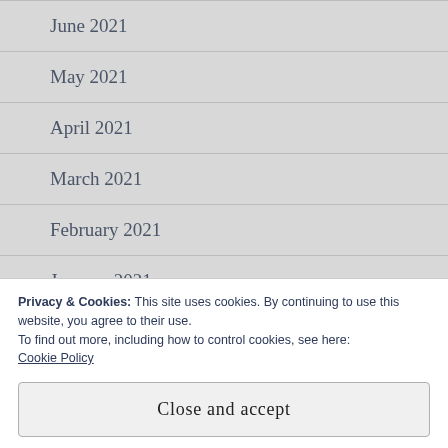June 2021
May 2021
April 2021
March 2021
February 2021
January 2021
December 2020
Privacy & Cookies: This site uses cookies. By continuing to use this website, you agree to their use.
To find out more, including how to control cookies, see here:
Cookie Policy
Close and accept